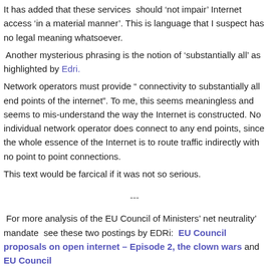It has added that these services should 'not impair' Internet access 'in a material manner'. This is language that I suspect has no legal meaning whatsoever.
Another mysterious phrasing is the notion of 'substantially all' as highlighted by Edri.
Network operators must provide " connectivity to substantially all end points of the internet". To me, this seems meaningless and seems to mis-understand the way the Internet is constructed. No individual network operator does connect to any end points, since the whole essence of the Internet is to route traffic indirectly with no point to point connections.
This text would be farcical if it was not so serious.
---
For more analysis of the EU Council of Ministers' net neutrality' mandate see these two postings by EDRi: EU Council proposals on open internet – Episode 2, the clown wars and EU Council